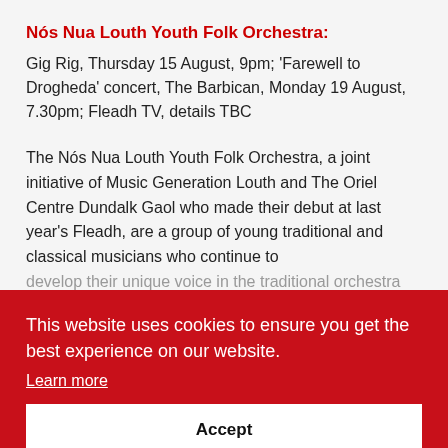Nós Nua Louth Youth Folk Orchestra:
Gig Rig, Thursday 15 August, 9pm; ‘Farewell to Drogheda’ concert, The Barbican, Monday 19 August, 7.30pm; Fleadh TV, details TBC
The Nós Nua Louth Youth Folk Orchestra, a joint initiative of Music Generation Louth and The Oriel Centre Dundalk Gaol who made their debut at last year’s Fleadh, are a group of young traditional and classical musicians who continue to develop their unique voice in the traditional orchestra setting. Big, p... ...and you mi... ...them in the promotional video for FleadhTV.
This website uses cookies to ensure you get the best experience on our website.
Learn more
Accept